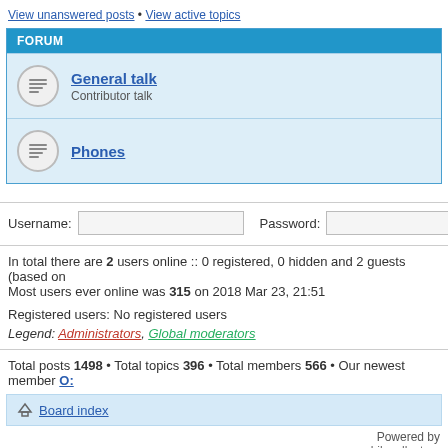View unanswered posts • View active topics
FORUM
General talk — Contributor talk
Phones
Username:  [input]  Password:  [input]
In total there are 2 users online :: 0 registered, 0 hidden and 2 guests (based on Most users ever online was 315 on 2018 Mar 23, 21:51
Registered users: No registered users
Legend: Administrators, Global moderators
Total posts 1498 • Total topics 396 • Total members 566 • Our newest member O:
Board index
Powered by
www.mobilecollectors